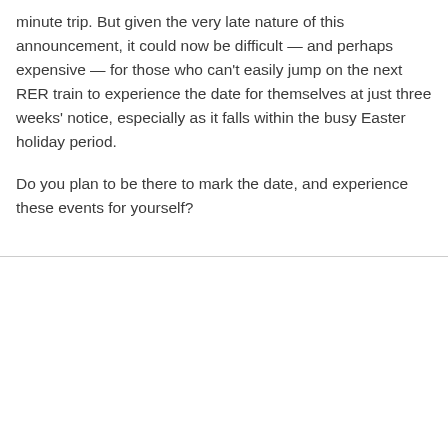minute trip. But given the very late nature of this announcement, it could now be difficult — and perhaps expensive — for those who can't easily jump on the next RER train to experience the date for themselves at just three weeks' notice, especially as it falls within the busy Easter holiday period.
Do you plan to be there to mark the date, and experience these events for yourself?